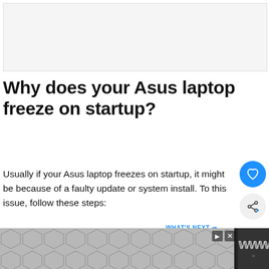[Figure (other): Gray placeholder image box at top of page]
Why does your Asus laptop freeze on startup?
Usually if your Asus laptop freezes on startup, it might be because of a faulty update or system install. To this issue, follow these steps:
Ensure your laptop isn't connected to the internet.
[Figure (infographic): WHAT'S NEXT card showing ASUS logo and text 'How to Fix a Asus Laptop...']
[Figure (infographic): Advertisement banner with hexagonal pattern at bottom of page]